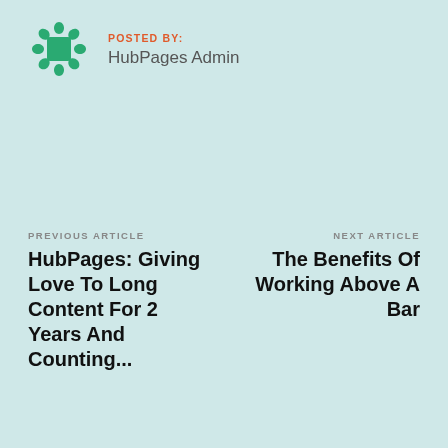[Figure (logo): HubPages logo: green square with leaf/petal shapes around it forming a circular pattern]
POSTED BY:
HubPages Admin
PREVIOUS ARTICLE
HubPages: Giving Love To Long Content For 2 Years And Counting...
NEXT ARTICLE
The Benefits Of Working Above A Bar